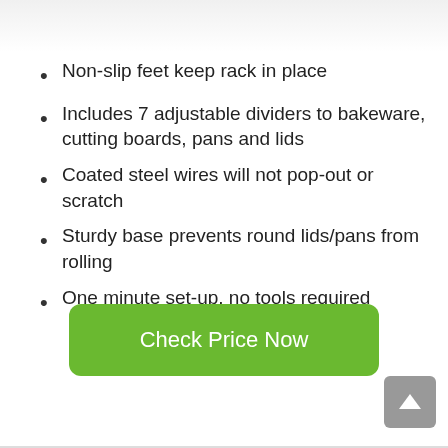[Figure (photo): Partial product image visible at top of page, clipped]
Non-slip feet keep rack in place
Includes 7 adjustable dividers to bakeware, cutting boards, pans and lids
Coated steel wires will not pop-out or scratch
Sturdy base prevents round lids/pans from rolling
One minute set-up, no tools required
Check Price Now